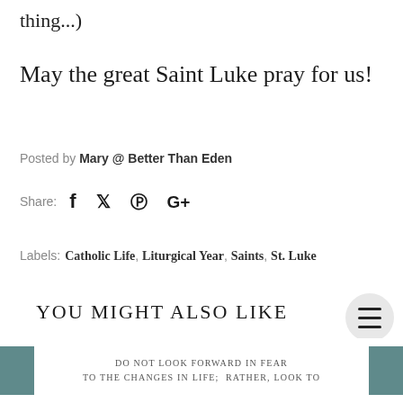thing...)
May the great Saint Luke pray for us!
Posted by Mary @ Better Than Eden
Share:  [facebook] [twitter] [pinterest] [google+]
Labels: Catholic Life, Liturgical Year, Saints, St. Luke
YOU MIGHT ALSO LIKE
Do not look forward in fear to the changes in life; rather, look to